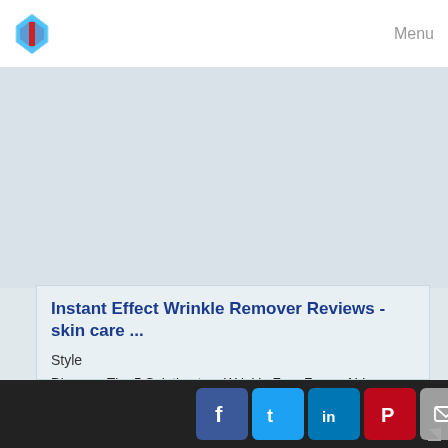Menu
Instant Effect Wrinkle Remover Reviews - skin care ...
Style
Discover The 5 Solution to a Wrinkle Free Face - ALL EXPOSED TODAY!
Various sources across the internet have exposed a HUGE celebrity secret to erase wrinkles - without botox or surgery!
How do Hollywood starlets look so radiant and youthful well into thier 40's, 50's, and even 60's? Is it always expensive botox and dangerous plastic surgery? According to various sources, the answer is...
Read more